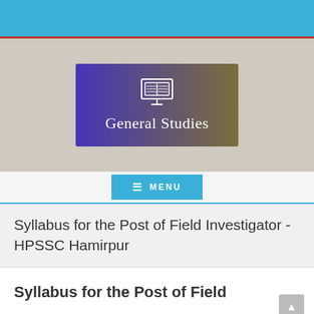[Figure (logo): General Studies website logo banner with monitor/book icon on purple-to-olive gradient background, text reads 'General Studies']
MENU
Syllabus for the Post of Field Investigator -HPSSC Hamirpur
Syllabus for the Post of Field